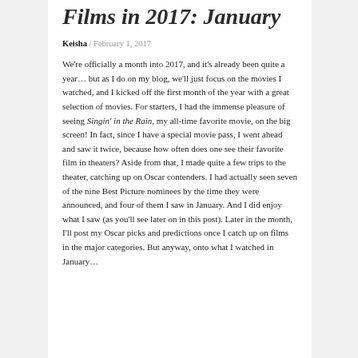Films in 2017: January
Keisha / February 1, 2017
We're officially a month into 2017, and it's already been quite a year… but as I do on my blog, we'll just focus on the movies I watched, and I kicked off the first month of the year with a great selection of movies. For starters, I had the immense pleasure of seeing Singin' in the Rain, my all-time favorite movie, on the big screen! In fact, since I have a special movie pass, I went ahead and saw it twice, because how often does one see their favorite film in theaters? Aside from that, I made quite a few trips to the theater, catching up on Oscar contenders. I had actually seen seven of the nine Best Picture nominees by the time they were announced, and four of them I saw in January. And I did enjoy what I saw (as you'll see later on in this post). Later in the month, I'll post my Oscar picks and predictions once I catch up on films in the major categories. But anyway, onto what I watched in January…